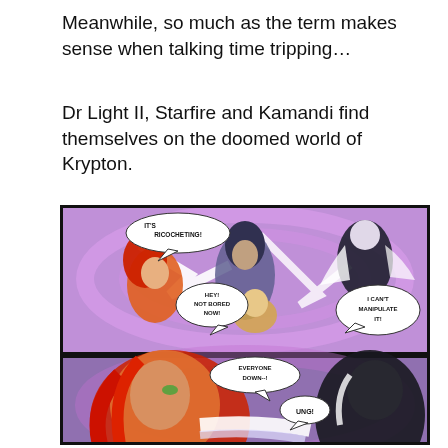Meanwhile, so much as the term makes sense when talking time tripping…
Dr Light II, Starfire and Kamandi find themselves on the doomed world of Krypton.
[Figure (illustration): Two-panel comic book page showing Dr Light II, Starfire, and Kamandi on Krypton. Top panel: characters amid swirling purple energy with speech bubbles 'IT'S RICOCHETING!', 'HEY! NOT BORED NOW!', 'I CAN'T MANIPULATE IT!'. Bottom panel: close-up of red-haired female character with speech bubbles 'EVERYONE DOWN--!' and 'UNG!']